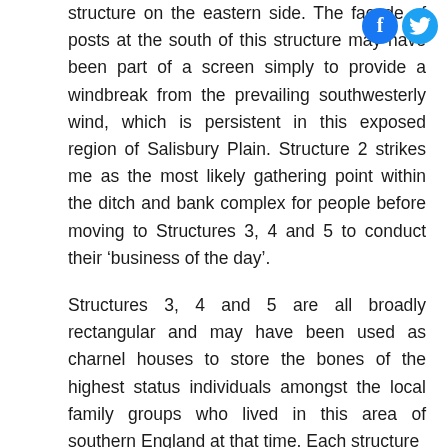structure on the eastern side. The facade of posts at the south of this structure may have been part of a screen simply to provide a windbreak from the prevailing southwesterly wind, which is persistent in this exposed region of Salisbury Plain. Structure 2 strikes me as the most likely gathering point within the ditch and bank complex for people before moving to Structures 3, 4 and 5 to conduct their ‘business of the day’.
Structures 3, 4 and 5 are all broadly rectangular and may have been used as charnel houses to store the bones of the highest status individuals amongst the local family groups who lived in this area of southern England at that time. Each structure